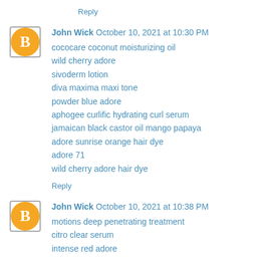Reply
John Wick  October 10, 2021 at 10:30 PM
cococare coconut moisturizing oil
wild cherry adore
sivoderm lotion
diva maxima maxi tone
powder blue adore
aphogee curlific hydrating curl serum
jamaican black castor oil mango papaya
adore sunrise orange hair dye
adore 71
wild cherry adore hair dye
Reply
John Wick  October 10, 2021 at 10:38 PM
motions deep penetrating treatment
citro clear serum
intense red adore